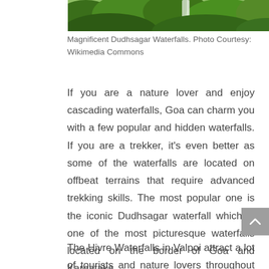[Figure (photo): Top portion of an image showing Dudhsagar Waterfalls surrounded by lush green forest vegetation, waterfall visible in center-right]
Magnificent Dudhsagar Waterfalls. Photo Courtesy: Wikimedia Commons
If you are a nature lover and enjoy cascading waterfalls, Goa can charm you with a few popular and hidden waterfalls. If you are a trekker, it's even better as some of the waterfalls are located on offbeat terrains that require advanced trekking skills. The most popular one is the iconic Dudhsagar waterfall which is one of the most picturesque waterfalls located on the border of Goa and Karnataka.
The Hivre Waterfalls in Valpoi attract a lot of tourists and nature lovers throughout the year. To